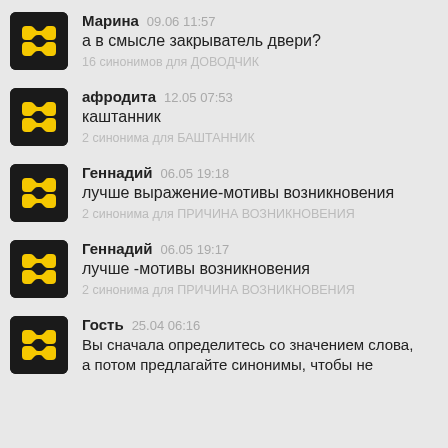Марина 09.06 11:57 а в смысле закрыватель двери? 16 синонимов для ДОВОДЧИК
афродита 12.05 07:53 каштанник 2 синонима для БАШТАННИК
Геннадий 06.05 19:18 лучше выражение-мотивы возникновения 2 синонима для ПРИЧИНА ВОЗНИКНОВЕНИЯ
Геннадий 06.05 19:17 лучше -мотивы возникновения 2 синонима для ПРИЧИНА ВОЗНИКНОВЕНИЯ
Гость 25.04 06:16 Вы сначала определитесь со значением слова, а потом предлагайте синонимы, чтобы не